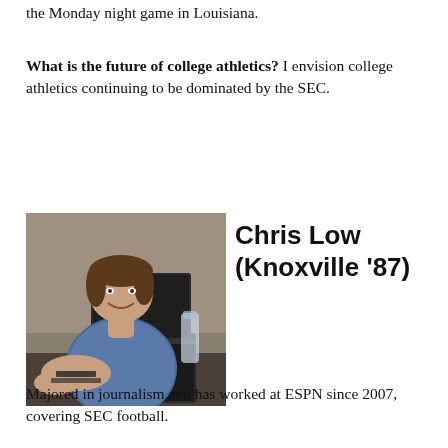the Monday night game in Louisiana.
What is the future of college athletics? I envision college athletics continuing to be dominated by the SEC.
[Figure (photo): Photo of Chris Low, a middle-aged man in a blue checkered shirt, smiling, seated at a table with a laptop open in front of him.]
Chris Low (Knoxville '87)
Majored in journalism and has worked at ESPN since 2007, covering SEC football.